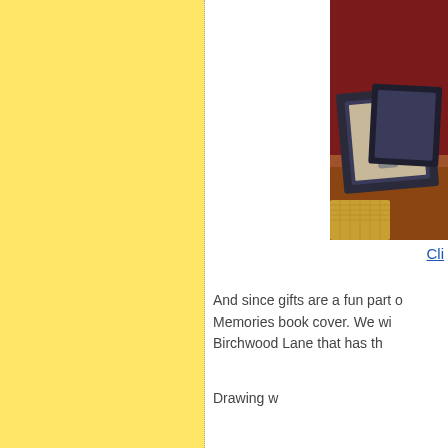[Figure (photo): A framed photo sitting on a wooden surface with a dark red/maroon background. The frame appears decorative and dark-colored.]
Cli
And since gifts are a fun part o... Memories book cover. We wi... Birchwood Lane that has th...
Drawing w...